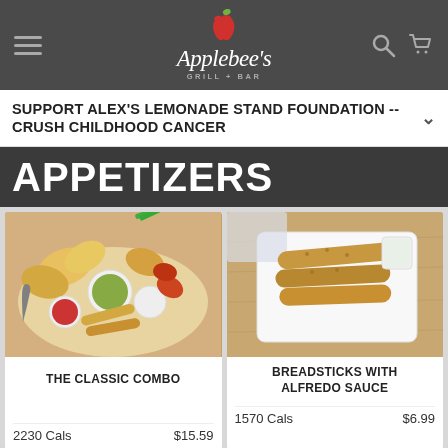Applebee's Grill + Bar
SUPPORT ALEX'S LEMONADE STAND FOUNDATION -- CRUSH CHILDHOOD CANCER
APPETIZERS
[Figure (photo): The Classic Combo appetizer platter with chips, mozzarella sticks, dipping sauces, and other appetizers]
THE CLASSIC COMBO
2230 Cals    $15.59
[Figure (photo): Breadsticks with Alfredo Sauce on a white plate with a dipping sauce cup]
BREADSTICKS WITH ALFREDO SAUCE
1570 Cals    $6.99
[Figure (photo): Partial view of a third appetizer dish at the bottom left]
[Figure (photo): Partial view of a fourth appetizer dish at the bottom right]